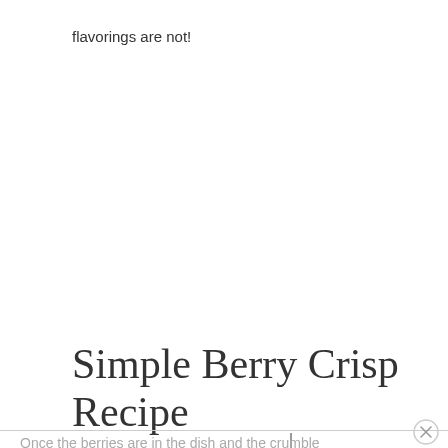flavorings are not!
Simple Berry Crisp Recipe
Once the berries are in the dish and the crumble